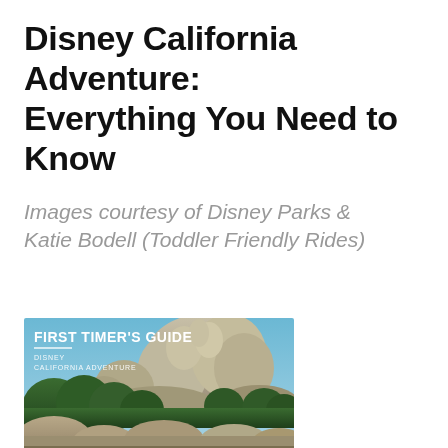Disney California Adventure: Everything You Need to Know
Images courtesy of Disney Parks & Katie Bodell (Toddler Friendly Rides)
[Figure (illustration): First Timer's Guide book cover for Disney California Adventure, showing rocky mountainous landscape with blue sky, tall rock formations, dense green trees, and boulders in foreground. Text overlay reads 'FIRST TIMER'S GUIDE / DISNEY / CALIFORNIA ADVENTURE'.]